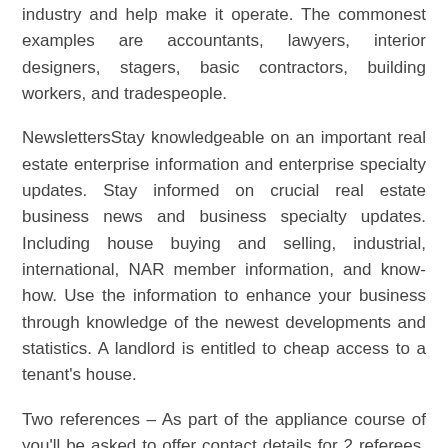industry and help make it operate. The commonest examples are accountants, lawyers, interior designers, stagers, basic contractors, building workers, and tradespeople.
NewslettersStay knowledgeable on an important real estate enterprise information and enterprise specialty updates. Stay informed on crucial real estate business news and business specialty updates. Including house buying and selling, industrial, international, NAR member information, and know-how. Use the information to enhance your business through knowledge of the newest developments and statistics. A landlord is entitled to cheap access to a tenant's house.
Two references – As part of the appliance course of you'll be asked to offer contact details for 2 referees, skilled and/or educational. The University will contact your referees instantly after you submit your application and direct them to complete our on-line reference type.